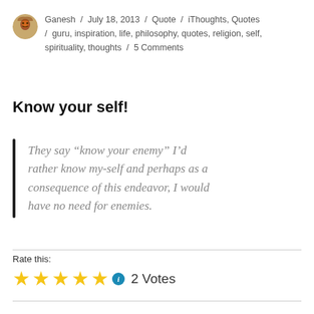Ganesh / July 18, 2013 / Quote / iThoughts, Quotes / guru, inspiration, life, philosophy, quotes, religion, self, spirituality, thoughts / 5 Comments
Know your self!
They say “know your enemy” I’d rather know my-self and perhaps as a consequence of this endeavor, I would have no need for enemies.
Rate this:
2 Votes